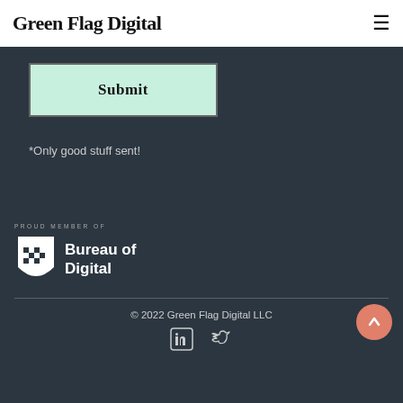Green Flag Digital
Submit
*Only good stuff sent!
[Figure (logo): Bureau of Digital proud member logo with shield icon and text 'PROUD MEMBER OF Bureau of Digital']
© 2022 Green Flag Digital LLC